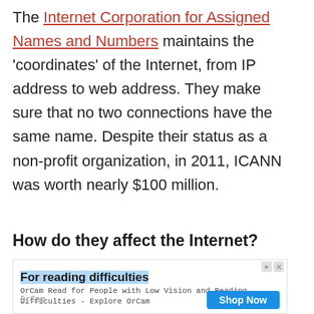The Internet Corporation for Assigned Names and Numbers maintains the 'coordinates' of the Internet, from IP address to web address. They make sure that no two connections have the same name. Despite their status as a non-profit organization, in 2011, ICANN was worth nearly $100 million.
How do they affect the Internet?
[Figure (other): Advertisement box for OrCam reading assistance product. Title: 'For reading difficulties'. Body: 'OrCam Read for People with Low Vision and Reading Difficulties - Explore OrCam'. Brand: OrCam. Button: 'Shop Now'.]